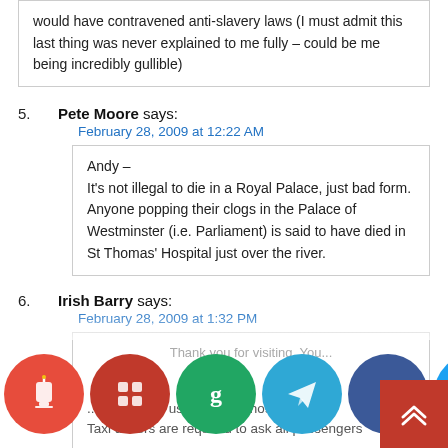would have contravened anti-slavery laws (I must admit this last thing was never explained to me fully – could be me being incredibly gullible)
5. Pete Moore says: February 28, 2009 at 12:22 AM
Andy –
It's not illegal to die in a Royal Palace, just bad form.
Anyone popping their clogs in the Palace of Westminster (i.e. Parliament) is said to have died in St Thomas' Hospital just over the river.
6. Irish Barry says: February 28, 2009 at 1:32 PM
Thank you for visiting. You...
[Figure (infographic): Social sharing icon bar with icons for: Torch/cup (red), Papaly (dark red), Gab (green), Telegram (blue), Facebook (blue), Twitter (blue), Messenger (blue), SMS (green), Email (green/grey), Search (olive/yellow)]
[Figure (infographic): Scroll-to-top red button with double up-arrow chevron]